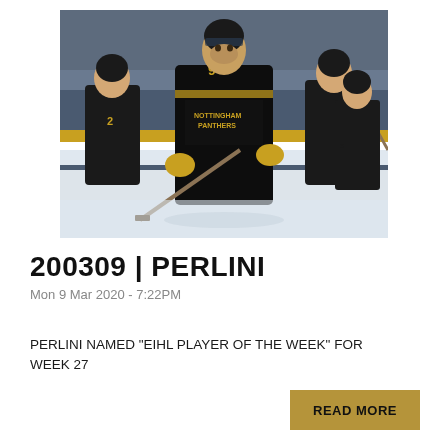[Figure (photo): Ice hockey players from Nottingham Panthers in black and gold uniforms on the ice; the central player wearing number 9 looks upward while holding a hockey stick.]
200309 | PERLINI
Mon 9 Mar 2020 - 7:22PM
PERLINI NAMED "EIHL PLAYER OF THE WEEK" FOR WEEK 27
READ MORE